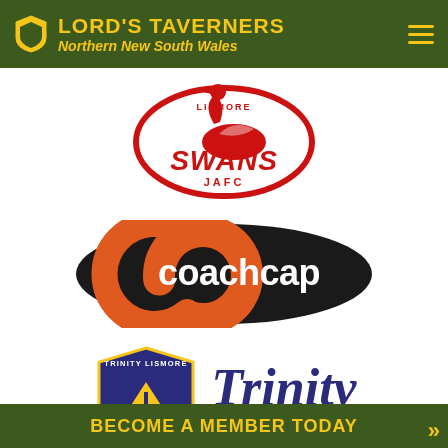LORD'S TAVERNERS Northern New South Wales
[Figure (logo): Lismore Swans JAFC logo - red oval with swan illustration]
[Figure (logo): Coachcap logo - black oval with orange C and white text coachcap]
[Figure (logo): Trinity Catholic College Lismore logo - shield with Trinity italic text]
BECOME A MEMBER TODAY